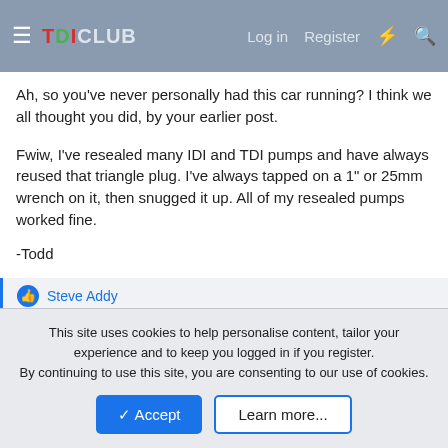TDICLUB  Log in  Register
Ah, so you've never personally had this car running? I think we all thought you did, by your earlier post.
Fwiw, I've resealed many IDI and TDI pumps and have always reused that triangle plug. I've always tapped on a 1" or 25mm wrench on it, then snugged it up. All of my resealed pumps worked fine.
-Todd
Steve Addy
CaddyJim
Active member
This site uses cookies to help personalise content, tailor your experience and to keep you logged in if you register.
By continuing to use this site, you are consenting to our use of cookies.